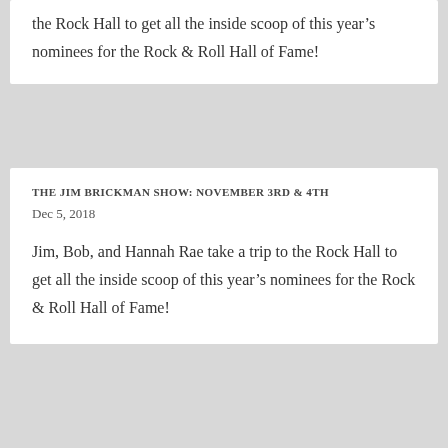the Rock Hall to get all the inside scoop of this year's nominees for the Rock & Roll Hall of Fame!
THE JIM BRICKMAN SHOW: NOVEMBER 3RD & 4TH
Dec 5, 2018
Jim, Bob, and Hannah Rae take a trip to the Rock Hall to get all the inside scoop of this year's nominees for the Rock & Roll Hall of Fame!